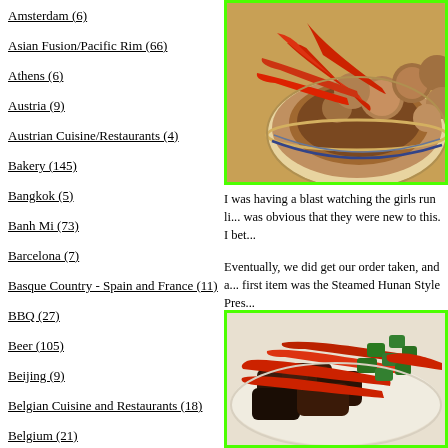Amsterdam (6)
Asian Fusion/Pacific Rim (66)
Athens (6)
Austria (9)
Austrian Cuisine/Restaurants (4)
Bakery (145)
Bangkok (5)
Banh Mi (73)
Barcelona (7)
Basque Country - Spain and France (11)
BBQ (27)
Beer (105)
Beijing (9)
Belgian Cuisine and Restaurants (18)
Belgium (21)
Bilbao, Spain (7)
Bordeaux (8)
[Figure (photo): Bowl of food with red chili peppers and mushrooms in sauce]
I was having a blast watching the girls run li... was obvious that they were new to this. I bet...
Eventually, we did get our order taken, and a... first item was the Steamed Hunan Style Pres...
[Figure (photo): Dark braised meat dish with red and green bell peppers on white plate]